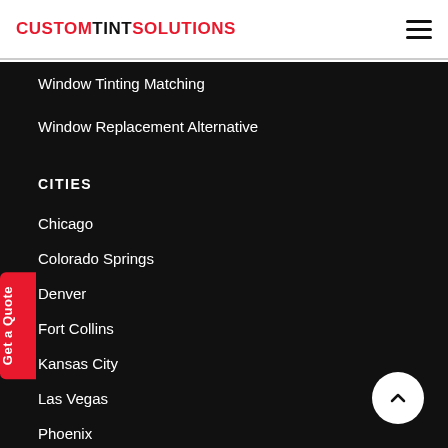CUSTOMTINTSOLUTIONS
Window Tinting Matching
Window Replacement Alternative
CITIES
Chicago
Colorado Springs
Denver
Fort Collins
Kansas City
Las Vegas
Phoenix
Salt Lake City